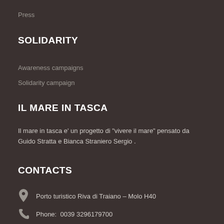Press
SOLIDARITY
Awareness campaigns
Solidarity campaign
IL MARE IN TASCA
Il mare in tasca e' un progetto di "vivere il mare" pensato da Guido Stratta e Bianca Straniero Sergio .
CONTACTS
Porto turistico Riva di Traiano – Molo H40
Phone:  0039 3296179700